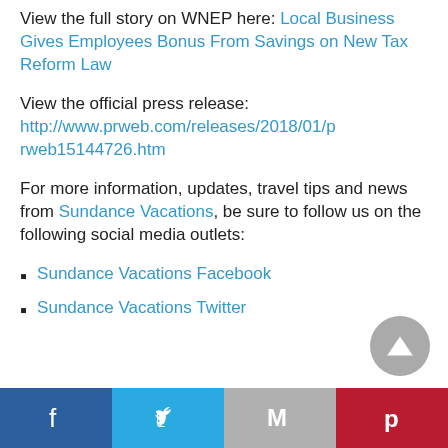View the full story on WNEP here: Local Business Gives Employees Bonus From Savings on New Tax Reform Law
View the official press release: http://www.prweb.com/releases/2018/01/prweb15144726.htm
For more information, updates, travel tips and news from Sundance Vacations, be sure to follow us on the following social media outlets:
Sundance Vacations Facebook
Sundance Vacations Twitter
Facebook | Twitter | Gmail | Pinterest